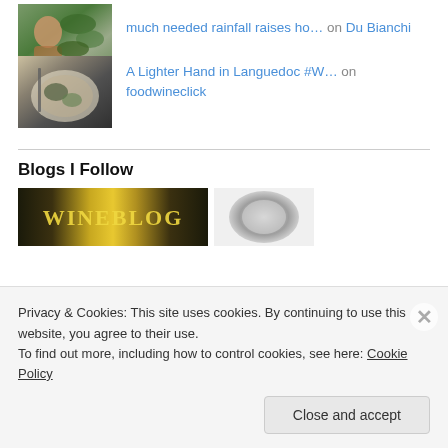[Figure (photo): Thumbnail image of a person in a vineyard with green leaves]
much needed rainfall raises ho… on Du Bianchi
[Figure (photo): Thumbnail image of a plate of food, salad greens]
A Lighter Hand in Languedoc #W… on foodwineclick
Blogs I Follow
[Figure (photo): Large banner image with golden yellow stylized text on dark background]
[Figure (photo): Circular blurred photo, grey tones]
Privacy & Cookies: This site uses cookies. By continuing to use this website, you agree to their use.
To find out more, including how to control cookies, see here: Cookie Policy